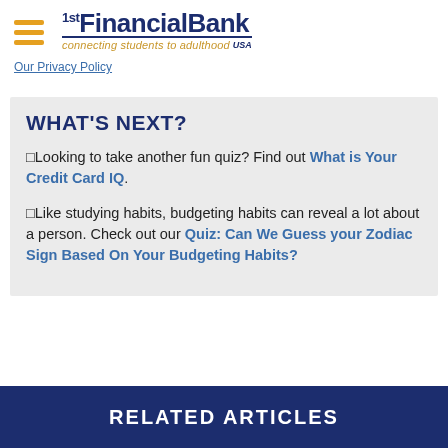1st Financial Bank USA — connecting students to adulthood
Our Privacy Policy
WHAT'S NEXT?
Looking to take another fun quiz? Find out What is Your Credit Card IQ.
Like studying habits, budgeting habits can reveal a lot about a person. Check out our Quiz: Can We Guess your Zodiac Sign Based On Your Budgeting Habits?
RELATED ARTICLES